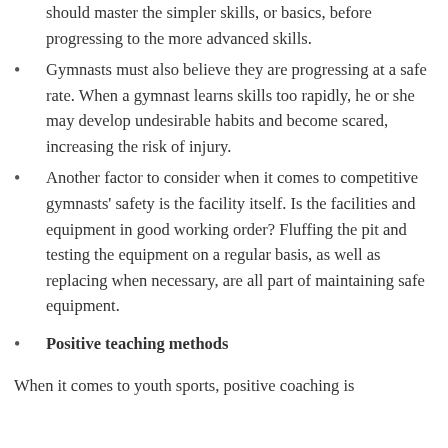should master the simpler skills, or basics, before progressing to the more advanced skills.
Gymnasts must also believe they are progressing at a safe rate. When a gymnast learns skills too rapidly, he or she may develop undesirable habits and become scared, increasing the risk of injury.
Another factor to consider when it comes to competitive gymnasts' safety is the facility itself. Is the facilities and equipment in good working order? Fluffing the pit and testing the equipment on a regular basis, as well as replacing when necessary, are all part of maintaining safe equipment.
Positive teaching methods
When it comes to youth sports, positive coaching is